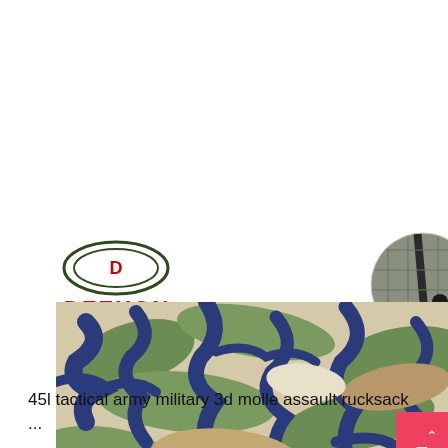[Figure (photo): Product image showing Deekon brand camouflage fabric in tiger stripe pattern (green, navy blue, tan/khaki). The Deekon logo (oval emblem with D letter) is shown in top-left, with red DEEKON text below it. A circular close-up inset of the fabric texture appears in the upper-right of the image area.]
45l tactical army military 3d molle assault rucksack ...